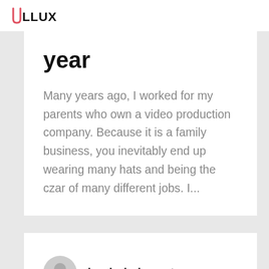LLUX (logo)
year
Many years ago, I worked for my parents who own a video production company. Because it is a family business, you inevitably end up wearing many hats and being the czar of many different jobs. I...
by dario.kornet